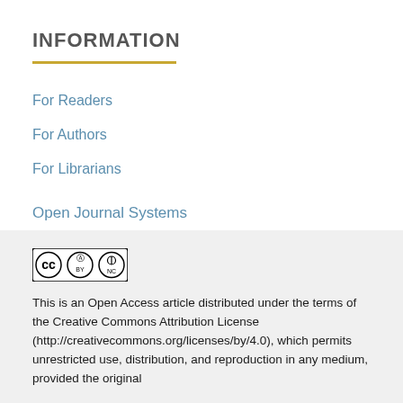INFORMATION
For Readers
For Authors
For Librarians
Open Journal Systems
[Figure (logo): Creative Commons BY-NC license badge]
This is an Open Access article distributed under the terms of the Creative Commons Attribution License (http://creativecommons.org/licenses/by/4.0), which permits unrestricted use, distribution, and reproduction in any medium, provided the original